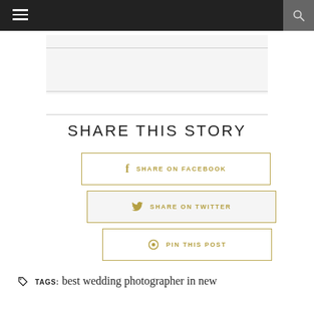Navigation bar with hamburger menu and search icon
SHARE THIS STORY
SHARE ON FACEBOOK
SHARE ON TWITTER
PIN THIS POST
TAGS: best wedding photographer in new